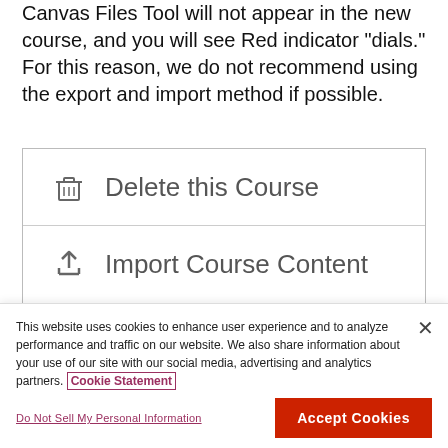Canvas Files Tool will not appear in the new course, and you will see Red indicator “dials.” For this reason, we do not recommend using the export and import method if possible.
[Figure (screenshot): Screenshot of Canvas course management options showing 'Delete this Course' and 'Import Course Content' menu items with icons]
This website uses cookies to enhance user experience and to analyze performance and traffic on our website. We also share information about your use of our site with our social media, advertising and analytics partners. Cookie Statement
Do Not Sell My Personal Information
Accept Cookies